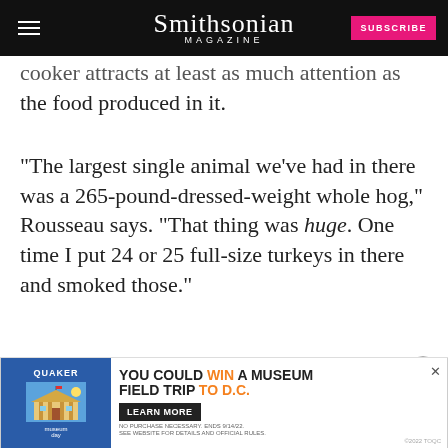Smithsonian MAGAZINE
cooker attracts at least as much attention as the food produced in it.
"The largest single animal we've had in there was a 265-pound-dressed-weight whole hog," Rousseau says. "That thing was huge. One time I put 24 or 25 full-size turkeys in there and smoked those."
It's interesting, I say, that turkeys don't really fly, ye...
[Figure (screenshot): Quaker Museum Day advertisement banner: 'You could win a museum field trip to D.C.' with Learn More button]